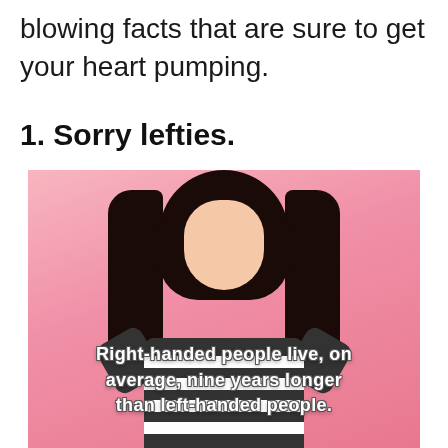blowing facts that are sure to get your heart pumping.
1. Sorry lefties.
[Figure (photo): A young woman with dark hair, eyes closed, smiling/laughing with fists raised in excitement, wearing a black and white striped shirt against a pink background. Overlaid text reads: Right-handed people live, on average, nine years longer than left-handed people.]